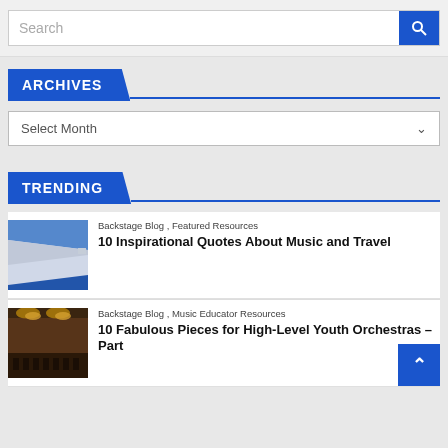Search
ARCHIVES
Select Month
TRENDING
[Figure (photo): View of airplane wing over ocean]
Backstage Blog , Featured Resources
10 Inspirational Quotes About Music and Travel
[Figure (photo): Orchestra or concert hall interior]
Backstage Blog , Music Educator Resources
10 Fabulous Pieces for High-Level Youth Orchestras – Part